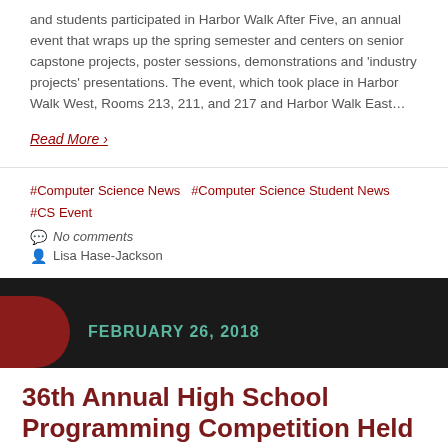and students participated in Harbor Walk After Five, an annual event that wraps up the spring semester and centers on senior capstone projects, poster sessions, demonstrations and 'industry projects' presentations. The event, which took place in Harbor Walk West, Rooms 213, 211, and 217 and Harbor Walk East…
Read More ›
#Computer Science News   #Computer Science Student News   #CS Event
No comments
Lisa Hase-Jackson
FEBRUARY 26, 2018
36th Annual High School Programming Competition Held at CS at CofC
The Department of Computer Science at the College of Charleston is pleased to have hosted the 36th Annual High School